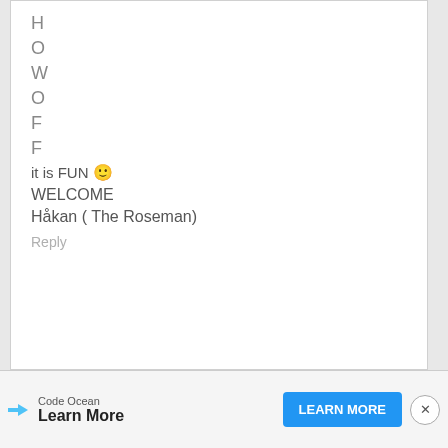H
O
W
O
F
F
it is FUN 🙂
WELCOME
Håkan ( The Roseman)
Reply
[Figure (infographic): Advertisement banner for Code Ocean with 'Learn More' button and close button]